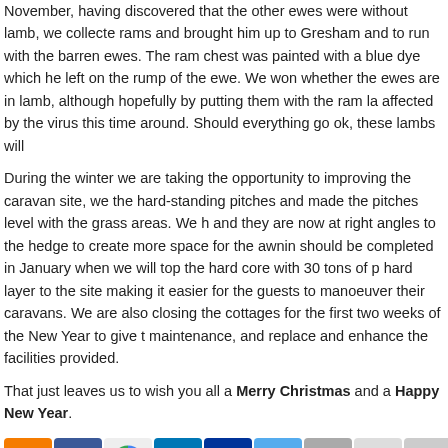November, having discovered that the other ewes were without lamb, we collected rams and brought him up to Gresham and to run with the barren ewes. The ram chest was painted with a blue dye which he left on the rump of the ewe. We won whether the ewes are in lamb, although hopefully by putting them with the ram la affected by the virus this time around. Should everything go ok, these lambs will
During the winter we are taking the opportunity to improving the caravan site, we the hard-standing pitches and made the pitches level with the grass areas. We h and they are now at right angles to the hedge to create more space for the awnin should be completed in January when we will top the hard core with 30 tons of p hard layer to the site making it easier for the guests to manoeuver their caravans. We are also closing the cottages for the first two weeks of the New Year to give t maintenance, and replace and enhance the facilities provided.
That just leaves us to wish you all a Merry Christmas and a Happy New Year.
[Figure (other): Row of social media and sharing icons: Blogger (orange), Facebook (blue), Google+ (multicolor), LinkedIn (dark blue), Myspace (blue), Twitter (teal), Print (gray), Favorites/star (gold star), Email (gray envelope)]
FILED UNDER: LATEST NEWS